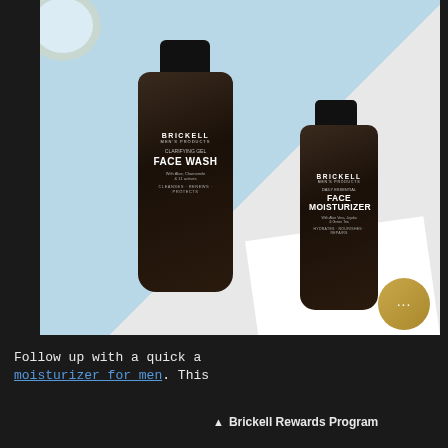[Figure (photo): Product photo of two Brickell Men's Products bottles — a Clarifying Gel Face Wash (larger, left) and a Daily Essential Face Moisturizer (smaller, right) — placed on a split blue and white surface with a white bowl partially visible in upper left corner.]
Follow up with a quick a... moisturizer for men. This
^^^ Brickell Rewards Program